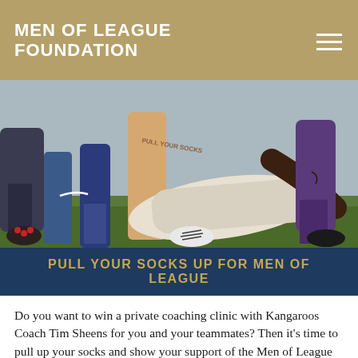MEN OF LEAGUE FOUNDATION
[Figure (photo): Close-up action photo of rugby league players on the ground during a tackle, showing legs, boots, and players scrambling on grass.]
PULL YOUR SOCKS UP FOR MEN OF LEAGUE
Do you want to win a private coaching clinic with Kangaroos Coach Tim Sheens for you and your teammates? Then it's time to pull up your socks and show your support of the Men of League Foundation!